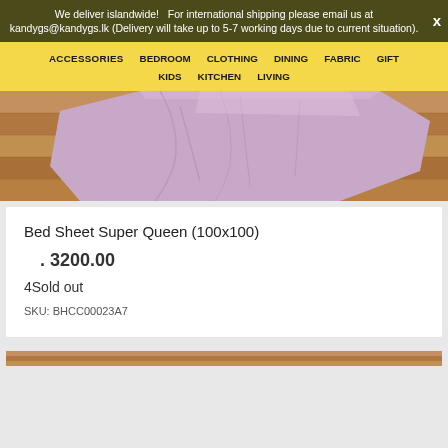We deliver islandwide!  For international shipping please email us at kandygs@kandygs.lk (Delivery will take up to 5-7 working days due to current situation).
ACCESSORIES  BEDROOM  CLOTHING  DINING  FABRIC  GIFT  KIDS  KITCHEN  LIVING
[Figure (photo): Folded light purple/lavender bed sheet on a wooden surface]
Bed Sheet Super Queen (100x100)
. 3200.00
4Sold out
SKU: BHCC00023A7